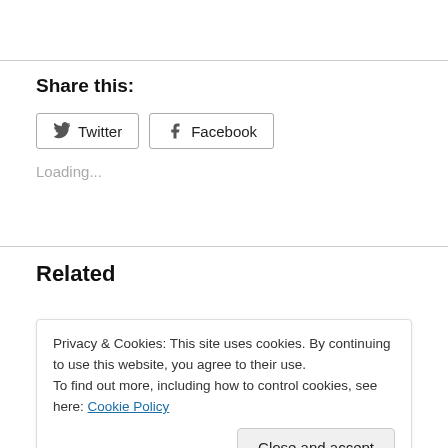Share this:
Twitter  Facebook
Loading...
Related
Privacy & Cookies: This site uses cookies. By continuing to use this website, you agree to their use.
To find out more, including how to control cookies, see here: Cookie Policy
Close and accept
Advertisements